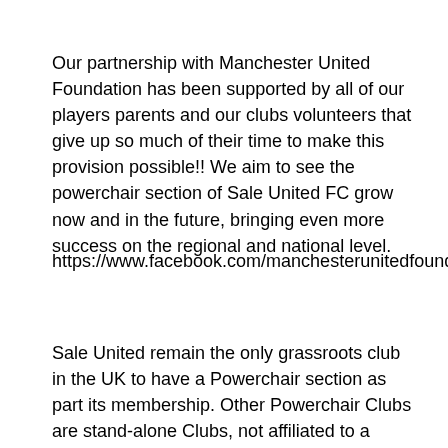Our partnership with Manchester United Foundation has been supported by all of our players parents and our clubs volunteers that give up so much of their time to make this provision possible!! We aim to see the powerchair section of Sale United FC grow now and in the future, bringing even more success on the regional and national level.
https://www.facebook.com/manchesterunitedfoundation/videos/15245866614247401/
Sale United remain the only grassroots club in the UK to have a Powerchair section as part its membership. Other Powerchair Clubs are stand-alone Clubs, not affiliated to a grassroots club.